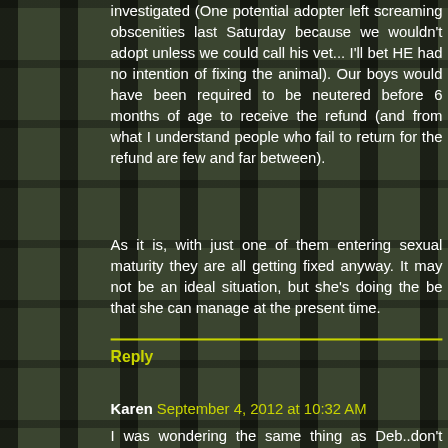investigated (One potential adopter left screaming obscenities last Saturday because we wouldn't adopt unless we could call his vet... I'll bet HE had no intention of fixing the animal). Our boys would have been required to be neutered before 6 months of age to receive the refund (and from what I understand people who fail to return for the refund are few and far between).
As it is, with just one of them entering sexual maturity they are all getting fixed anyway. It may not be an ideal situation, but she's doing the be that she can manage at the present time.
Reply
Karen September 4, 2012 at 10:32 AM
I was wondering the same thing as Deb..don't they have to be spayed or neutered before adoption? Most other